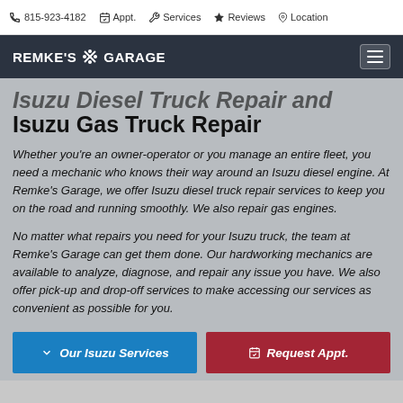815-923-4182   Appt.   Services   Reviews   Location
REMKE'S GARAGE
Isuzu Diesel Truck Repair and Isuzu Gas Truck Repair
Whether you're an owner-operator or you manage an entire fleet, you need a mechanic who knows their way around an Isuzu diesel engine. At Remke's Garage, we offer Isuzu diesel truck repair services to keep you on the road and running smoothly. We also repair gas engines.
No matter what repairs you need for your Isuzu truck, the team at Remke's Garage can get them done. Our hardworking mechanics are available to analyze, diagnose, and repair any issue you have. We also offer pick-up and drop-off services to make accessing our services as convenient as possible for you.
Our Isuzu Services
Request Appt.